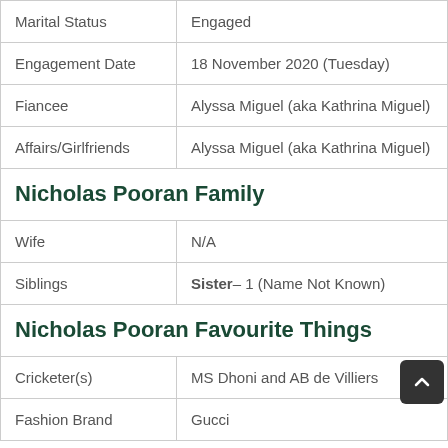| Marital Status | Engaged |
| Engagement Date | 18 November 2020 (Tuesday) |
| Fiancee | Alyssa Miguel (aka Kathrina Miguel) |
| Affairs/Girlfriends | Alyssa Miguel (aka Kathrina Miguel) |
Nicholas Pooran Family
| Wife | N/A |
| Siblings | Sister– 1 (Name Not Known) |
Nicholas Pooran Favourite Things
| Cricketer(s) | MS Dhoni and AB de Villiers |
| Fashion Brand | Gucci |